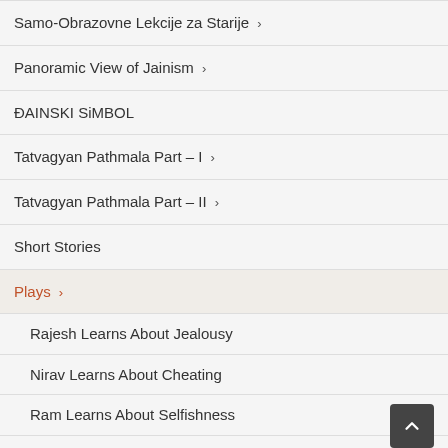Samo-Obrazovne Lekcije za Starije
Panoramic View of Jainism
ĐAINSKI SiMBOL
Tatvagyan Pathmala Part – I
Tatvagyan Pathmala Part – II
Short Stories
Plays
Rajesh Learns About Jealousy
Nirav Learns About Cheating
Ram Learns About Selfishness
Ravi Learns About Stealing